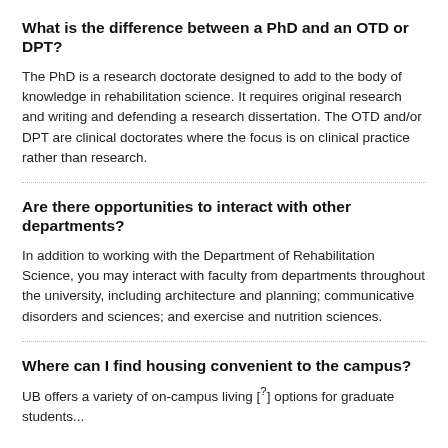What is the difference between a PhD and an OTD or DPT?
The PhD is a research doctorate designed to add to the body of knowledge in rehabilitation science. It requires original research and writing and defending a research dissertation. The OTD and/or DPT are clinical doctorates where the focus is on clinical practice rather than research.
Are there opportunities to interact with other departments?
In addition to working with the Department of Rehabilitation Science, you may interact with faculty from departments throughout the university, including architecture and planning; communicative disorders and sciences; and exercise and nutrition sciences.
Where can I find housing convenient to the campus?
UB offers a variety of on-campus living [?] options for graduate students...